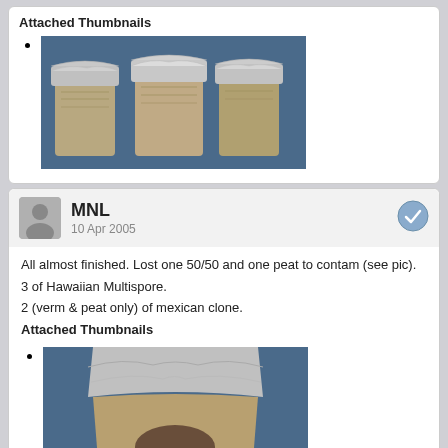Attached Thumbnails
[Figure (photo): Three foil-capped cup-shaped containers with mycelium growth, placed side by side on a blue background.]
MNL
10 Apr 2005
All almost finished. Lost one 50/50 and one peat to contam (see pic).
3 of Hawaiian Multispore.
2 (verm & peat only) of mexican clone.
Attached Thumbnails
[Figure (photo): A single foil-capped cup showing contamination on the mycelium substrate, on a blue background.]
[Figure (photo): Two foil-capped cups with mycelium, side by side, on a blue background.]